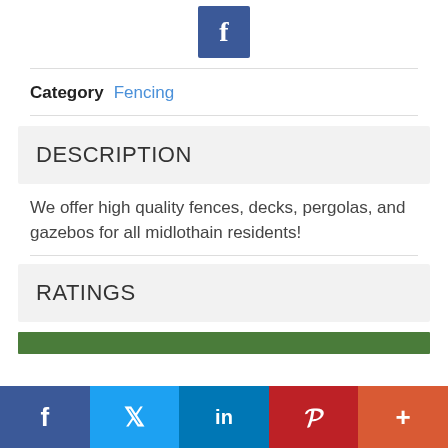[Figure (logo): Facebook logo icon — white 'f' on blue square background]
Category  Fencing
DESCRIPTION
We offer high quality fences, decks, pergolas, and gazebos for all midlothain residents!
RATINGS
[Figure (other): Green horizontal progress/rating bar]
[Figure (other): Social sharing bar with Facebook, Twitter, LinkedIn, Pinterest, and More buttons]